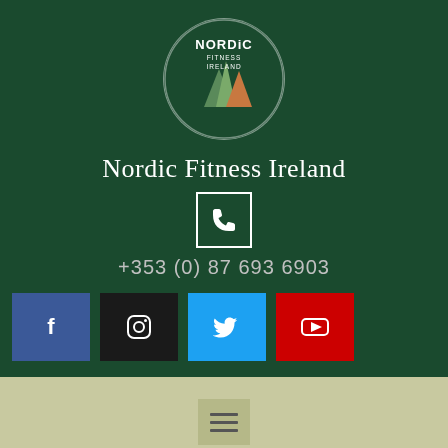[Figure (logo): Nordic Fitness Ireland circular logo with mountain/tree shapes in green and orange on dark green background]
Nordic Fitness Ireland
[Figure (infographic): Phone icon in white square border]
+353 (0) 87 693 6903
[Figure (infographic): Social media buttons row: Facebook (blue), Instagram (black), Twitter (blue), YouTube (red)]
[Figure (infographic): Hamburger menu icon on olive/tan background]
Terms &